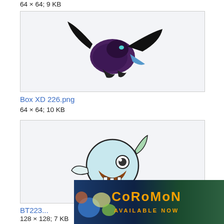64 × 64; 9 KB
[Figure (illustration): A dark purple and black Pokémon creature in a flying/running pose, depicted in a blurry zoomed pixel-art style]
Box XD 226.png
64 × 64; 10 KB
[Figure (illustration): A round light-blue fish-like creature (Pokémon) with fins, big eye, and brown mouth markings]
BT223...
128 × 128; 7 KB
[Figure (advertisement): Coromon game advertisement banner showing colorful creature characters and the text COROMON AVAILABLE NOW]